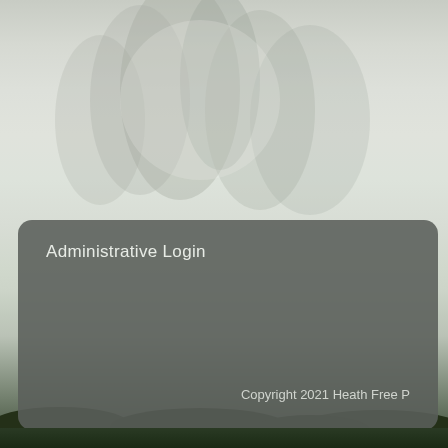[Figure (photo): Blurry misty outdoor background with trees visible through fog, light grey-green tones, with dark green foliage strip at the very bottom.]
Administrative Login
Copyright 2021 Heath Free P